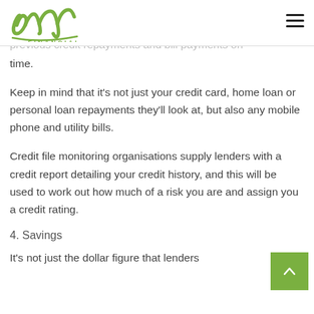Vow Financial
Lenders will look at copies of credit card and bank statements to see that you've been able to make any previous credit repayments and bill payments on time.
Keep in mind that it's not just your credit card, home loan or personal loan repayments they'll look at, but also any mobile phone and utility bills.
Credit file monitoring organisations supply lenders with a credit report detailing your credit history, and this will be used to work out how much of a risk you are and assign you a credit rating.
4. Savings
It's not just the dollar figure that lenders